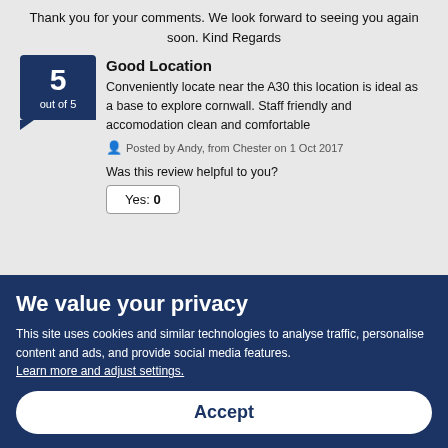Thank you for your comments. We look forward to seeing you again soon. Kind Regards
Good Location
Conveniently locate near the A30 this location is ideal as a base to explore cornwall. Staff friendly and accomodation clean and comfortable
Posted by Andy, from Chester on 1 Oct 2017
Was this review helpful to you?
Yes: 0
We value your privacy
This site uses cookies and similar technologies to analyse traffic, personalise content and ads, and provide social media features. Learn more and adjust settings.
Accept